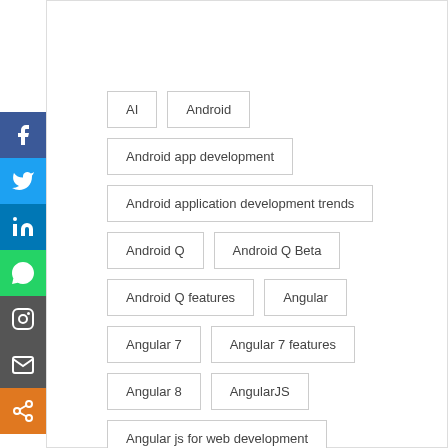AI
Android
Android app development
Android application development trends
Android Q
Android Q Beta
Android Q features
Angular
Angular 7
Angular 7 features
Angular 8
AngularJS
Angular js for web development